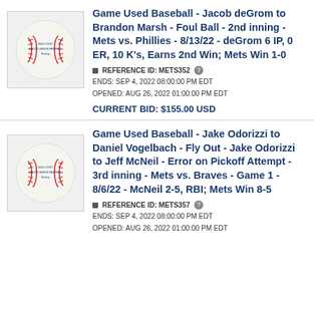[Figure (photo): Game used baseball - official MLB baseball with stitching visible]
Game Used Baseball - Jacob deGrom to Brandon Marsh - Foul Ball - 2nd inning - Mets vs. Phillies - 8/13/22 - deGrom 6 IP, 0 ER, 10 K's, Earns 2nd Win; Mets Win 1-0
REFERENCE ID: METS352
ENDS: SEP 4, 2022 08:00:00 PM EDT
OPENED: AUG 26, 2022 01:00:00 PM EDT
CURRENT BID: $155.00 USD
[Figure (photo): Game used baseball - official MLB baseball with stitching visible]
Game Used Baseball - Jake Odorizzi to Daniel Vogelbach - Fly Out - Jake Odorizzi to Jeff McNeil - Error on Pickoff Attempt - 3rd inning - Mets vs. Braves - Game 1 - 8/6/22 - McNeil 2-5, RBI; Mets Win 8-5
REFERENCE ID: METS357
ENDS: SEP 4, 2022 08:00:00 PM EDT
OPENED: AUG 26, 2022 01:00:00 PM EDT